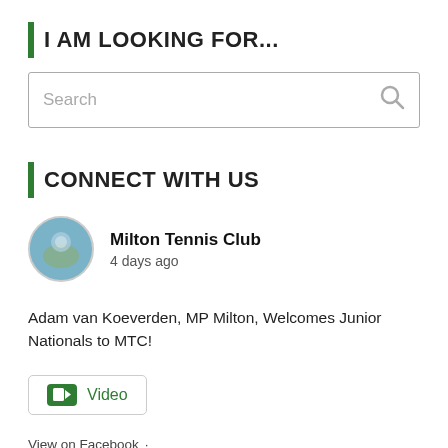I AM LOOKING FOR...
[Figure (other): Search input box with placeholder text 'Search' and a search icon on the right]
CONNECT WITH US
[Figure (other): Profile picture of Milton Tennis Club - circular avatar showing a tennis club outdoor scene]
Milton Tennis Club
4 days ago
Adam van Koeverden, MP Milton, Welcomes Junior Nationals to MTC!
Video
View on Facebook · Share